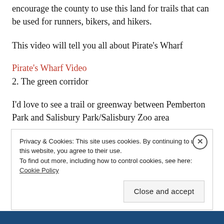encourage the county to use this land for trails that can be used for runners, bikers, and hikers.
This video will tell you all about Pirate's Wharf
Pirate's Wharf Video
2. The green corridor
I'd love to see a trail or greenway between Pemberton Park and Salisbury Park/Salisbury Zoo area
Privacy & Cookies: This site uses cookies. By continuing to use this website, you agree to their use.
To find out more, including how to control cookies, see here: Cookie Policy
Close and accept